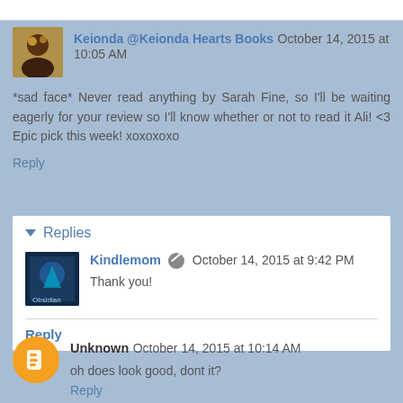Keionda @Keionda Hearts Books October 14, 2015 at 10:05 AM
*sad face* Never read anything by Sarah Fine, so I'll be waiting eagerly for your review so I'll know whether or not to read it Ali! <3 Epic pick this week! xoxoxoxo
Reply
Replies
Kindlemom October 14, 2015 at 9:42 PM
Thank you!
Reply
Unknown October 14, 2015 at 10:14 AM
oh does look good, dont it?
Reply